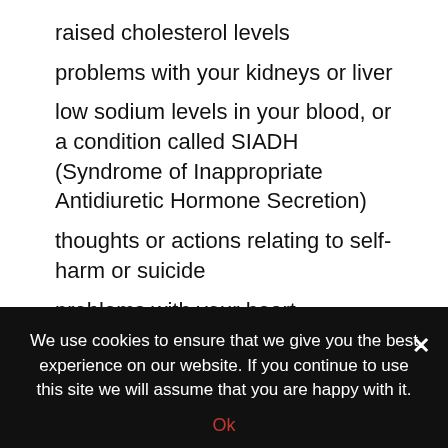raised cholesterol levels
problems with your kidneys or liver
low sodium levels in your blood, or a condition called SIADH (Syndrome of Inappropriate Antidiuretic Hormone Secretion)
thoughts or actions relating to self-harm or suicide
problems with your heart
Your doctor may wish to do some heart tests such as an electrocardiogram (ECG) or blood tests during treatment with venlafaxine.
any other medical conditions.
We use cookies to ensure that we give you the best experience on our website. If you continue to use this site we will assume that you are happy with it.
Ok